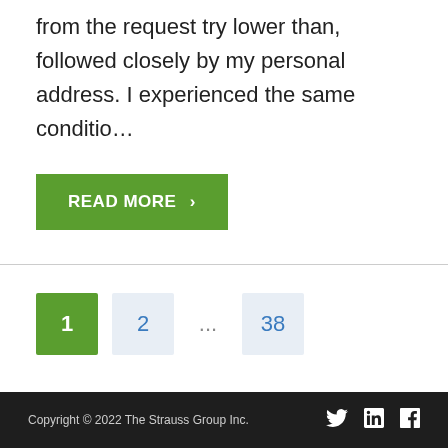from the request try lower than, followed closely by my personal address. I experienced the same conditio…
READ MORE >
1
2
...
38
Copyright © 2022 The Strauss Group Inc.